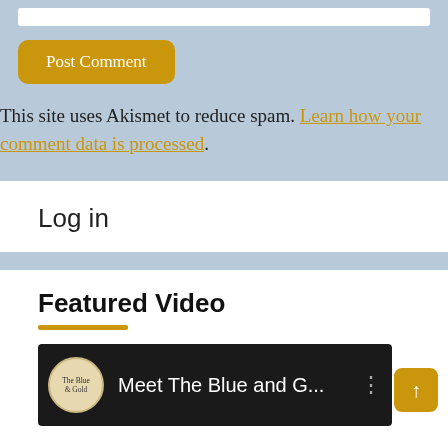Post Comment
This site uses Akismet to reduce spam. Learn how your comment data is processed.
Log in
Featured Video
[Figure (screenshot): Video thumbnail showing 'Meet The Blue and G...' with The Blue & Gold logo circle on dark background]